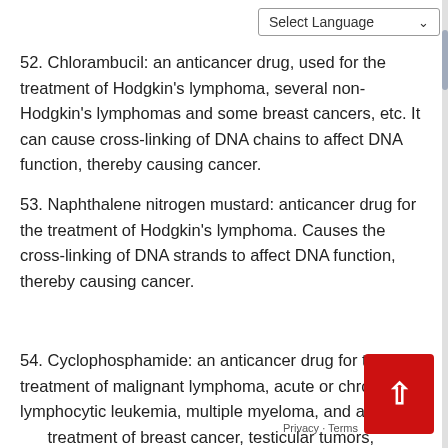52. Chlorambucil: an anticancer drug, used for the treatment of Hodgkin's lymphoma, several non-Hodgkin's lymphomas and some breast cancers, etc. It can cause cross-linking of DNA chains to affect DNA function, thereby causing cancer.
53. Naphthalene nitrogen mustard: anticancer drug for the treatment of Hodgkin's lymphoma. Causes the cross-linking of DNA strands to affect DNA function, thereby causing cancer.
54. Cyclophosphamide: an anticancer drug for the treatment of malignant lymphoma, acute or chronic lymphocytic leukemia, multiple myeloma, and also for treatment of breast cancer, testicular tumors, ovarian cancer, lung cancer, head and neck squamous cell